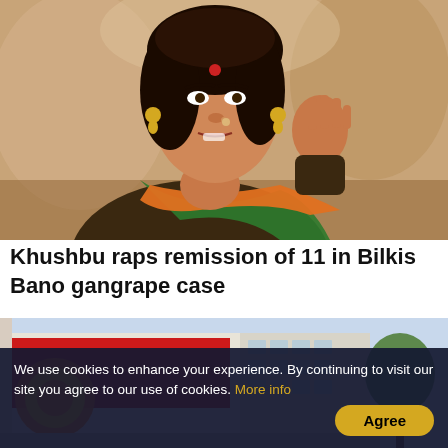[Figure (photo): A woman (Khushbu) wearing a BJP saffron scarf, gesturing with her right hand raised, speaking at a podium or event. She has a red bindi and gold earrings.]
Khushbu raps remission of 11 in Bilkis Bano gangrape case
[Figure (photo): Exterior of a building with a red stripe and what appears to be the India Post logo (sun/circle design in orange and yellow). Sky and a tree visible in the background.]
We use cookies to enhance your experience. By continuing to visit our site you agree to our use of cookies. More info
Agree